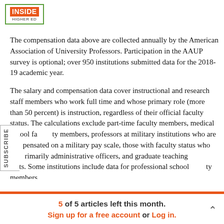[Figure (logo): Inside Higher Ed logo — green border box with orange INSIDE text and 'HIGHER ED' subtitle]
The compensation data above are collected annually by the American Association of University Professors. Participation in the AAUP survey is optional; over 950 institutions submitted data for the 2018-19 academic year.
The salary and compensation data cover instructional and research staff members who work full time and whose primary role (more than 50 percent) is instruction, regardless of their official faculty status. The calculations exclude part-time faculty members, medical school faculty members, professors at military institutions who are compensated on a military pay scale, those with faculty status who are primarily administrative officers, and graduate teaching assistants. Some institutions include data for professional school faculty members.
Salary figures exclude summer teaching, stipends and other non-contracted forms of remuneration. When instructors are compensated for 11 or 12 months' work, their salaries are adjusted to a nine-month
5 of 5 articles left this month. Sign up for a free account or Log in.